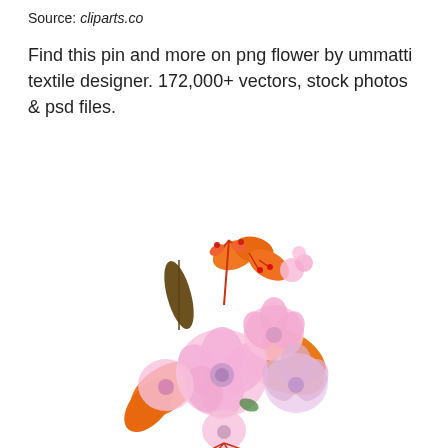Source: cliparts.co
Find this pin and more on png flower by ummatti textile designer. 172,000+ vectors, stock photos & psd files.
[Figure (illustration): Watercolor-style illustration of a bouquet of pink flowers with orange and dark yellow leaves and small red berry stems on a white background.]